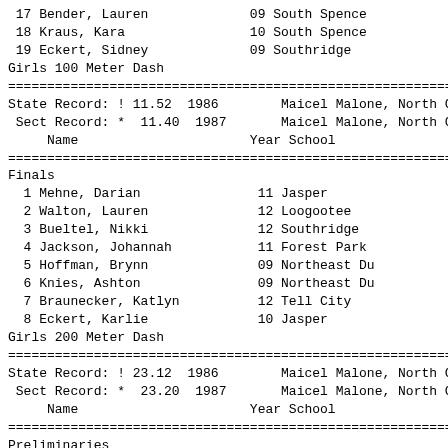17 Bender, Lauren         09 South Spence
18 Kraus, Kara            10 South Spence
19 Eckert, Sidney         09 Southridge
Girls 100 Meter Dash
| Name | Year | School |
| --- | --- | --- |
| State Record: ! 11.52  1986 |  | Maicel Malone, North C |
| Sect Record: *  11.40  1987 |  | Maicel Malone, North C |
| Finals |  |  |
| 1 Mehne, Darian | 11 | Jasper |
| 2 Walton, Lauren | 12 | Loogootee |
| 3 Bueltel, Nikki | 12 | Southridge |
| 4 Jackson, Johannah | 11 | Forest Park |
| 5 Hoffman, Brynn | 09 | Northeast Du |
| 6 Knies, Ashton | 09 | Northeast Du |
| 7 Braunecker, Katlyn | 12 | Tell City |
| 8 Eckert, Karlie | 10 | Jasper |
Girls 200 Meter Dash
| Name | Year | School | F |
| --- | --- | --- | --- |
| State Record: ! 23.12  1986 |  | Maicel Malone, North C |  |
| Sect Record: *  23.20  1987 |  | Maicel Malone, North C |  |
| Preliminaries |  |  |  |
| 1 Mehne, Darian | 11 | Jasper |  |
| 2 Dilger, Adi | 12 | Forest Park |  |
| 3 Lanman, Keina | 12 | Northeast Du |  |
| 4 ... | 10 | Forest Park |  |